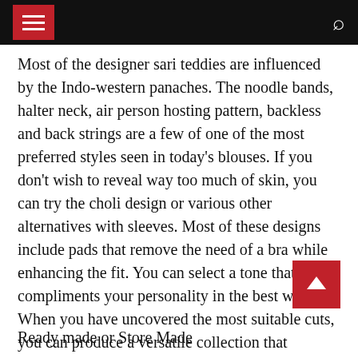Navigation bar with menu and search
Most of the designer sari teddies are influenced by the Indo-western panaches. The noodle bands, halter neck, air person hosting pattern, backless and back strings are a few of one of the most preferred styles seen in today's blouses. If you don't wish to reveal way too much of skin, you can try the choli design or various other alternatives with sleeves. Most of these designs include pads that remove the need of a bra while enhancing the fit. You can select a tone that compliments your personality in the best way. When you have uncovered the most suitable cuts, you can produce a versatile collection that includes different variants with different types of neck lines, sleeves and embellishments.
Ready made or Store Made